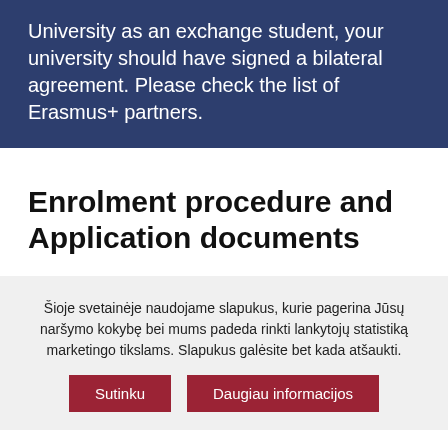University as an exchange student, your university should have signed a bilateral agreement. Please check the list of Erasmus+ partners.
Enrolment procedure and Application documents
Šioje svetainėje naudojame slapukus, kurie pagerina Jūsų naršymo kokybę bei mums padeda rinkti lankytojų statistiką marketingo tikslams. Slapukus galėsite bet kada atšaukti.
Sutinku | Daugiau informacijos